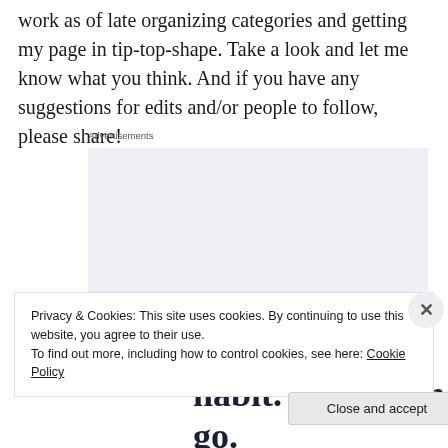work as of late organizing categories and getting my page in tip-top-shape. Take a look and let me know what you think. And if you have any suggestions for edits and/or people to follow, please share!
Advertisements
[Figure (other): Advertisement banner with text: Build a writing habit. Post on the go.]
Privacy & Cookies: This site uses cookies. By continuing to use this website, you agree to their use.
To find out more, including how to control cookies, see here: Cookie Policy
Close and accept